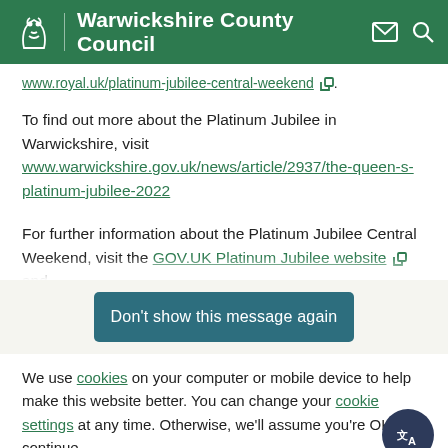Warwickshire County Council
www.royal.uk/platinum-jubilee-central-weekend.
To find out more about the Platinum Jubilee in Warwickshire, visit www.warwickshire.gov.uk/news/article/2937/the-queen-s-platinum-jubilee-2022
For further information about the Platinum Jubilee Central Weekend, visit the GOV.UK Platinum Jubilee website and
Don't show this message again
We use cookies on your computer or mobile device to help make this website better. You can change your cookie settings at any time. Otherwise, we'll assume you're OK to continue.